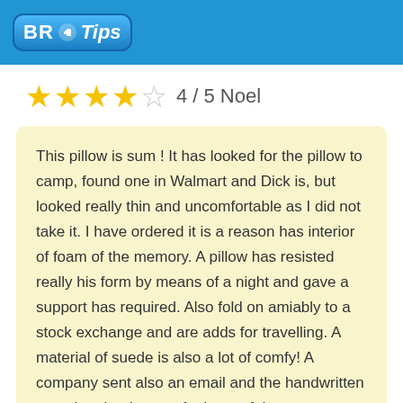BR Tips
★★★★☆ 4 / 5  Noel
This pillow is sum ! It has looked for the pillow to camp, found one in Walmart and Dick is, but looked really thin and uncomfortable as I did not take it. I have ordered it is a reason has interior of foam of the memory. A pillow has resisted really his form by means of a night and gave a support has required. Also fold on amiably to a stock exchange and are adds for travelling. A material of suede is also a lot of comfy! A company sent also an email and the handwritten note that thank cost of a i one of the customers and I do not think that an